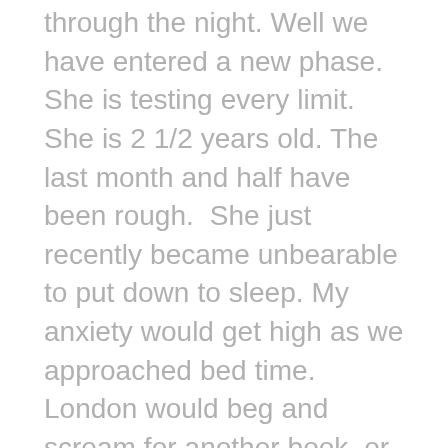through the night.  Well we have entered a new phase.  She is testing every limit.  She is 2 1/2 years old. The last month and half have been rough.  She just recently became unbearable to put down to sleep. My anxiety would get high as we approached bed time.  London would beg and scream for another book, or to use the potty.  Or even said she was hungry!  She would also beg for you to rub her back, again and again.  I would have to slip out of her room without making a peep.  If she opened her eyes and saw you leaving, shit would hit the fan and I would have to start all over.   She finally would fall asleep until she would wake up at 4:30am, refusing to go back to bed.  Every morning!!!   I hit my breaking point and realized something needed to change…..spoiler apart….it was me!!!   She has been testing the limits and I failed!!!   I reached out to my incredile client Sue, a bit of a child